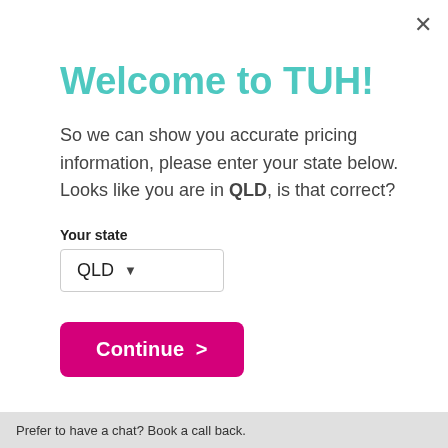Welcome to TUH!
So we can show you accurate pricing information, please enter your state below. Looks like you are in QLD, is that correct?
Your state
QLD
Continue >
Prefer to have a chat? Book a call back.